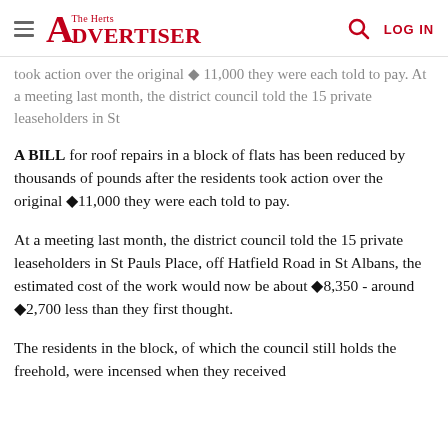The Herts Advertiser
took action over the original ◆ 11,000 they were each told to pay. At a meeting last month, the district council told the 15 private leaseholders in St
A BILL for roof repairs in a block of flats has been reduced by thousands of pounds after the residents took action over the original ◆11,000 they were each told to pay.
At a meeting last month, the district council told the 15 private leaseholders in St Pauls Place, off Hatfield Road in St Albans, the estimated cost of the work would now be about ◆8,350 - around ◆2,700 less than they first thought.
The residents in the block, of which the council still holds the freehold, were incensed when they received